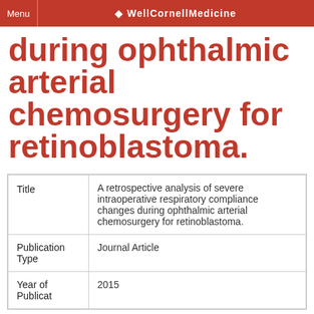Menu | WellCornellMedicine
during ophthalmic arterial chemosurgery for retinoblastoma.
| Title | A retrospective analysis of severe intraoperative respiratory compliance changes during ophthalmic arterial chemosurgery for retinoblastoma. |
| Publication Type | Journal Article |
| Year of Publication | 2015 |